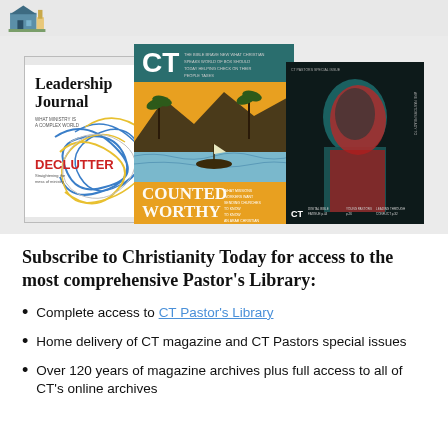[Figure (photo): Three magazine covers displayed: Leadership Journal (white cover with blue/yellow wire tangle, DECLUTTER text), Christianity Today CT (orange cover with COUNTED WORTHY text and tropical scene), and CT special issue (dark cover with double-exposure portrait in red/teal)]
Subscribe to Christianity Today for access to the most comprehensive Pastor's Library:
Complete access to CT Pastor's Library
Home delivery of CT magazine and CT Pastors special issues
Over 120 years of magazine archives plus full access to all of CT's online archives